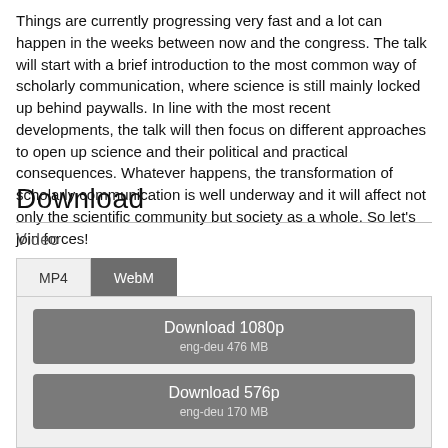Things are currently progressing very fast and a lot can happen in the weeks between now and the congress. The talk will start with a brief introduction to the most common way of scholarly communication, where science is still mainly locked up behind paywalls. In line with the most recent developments, the talk will then focus on different approaches to open up science and their political and practical consequences. Whatever happens, the transformation of scholarly communication is well underway and it will affect not only the scientific community but society as a whole. So let’s join forces!
Download
Video
[Figure (screenshot): Download tabs (MP4 and WebM) with WebM tab active (dark background), and two download buttons: 'Download 1080p / eng-deu 476 MB' and 'Download 576p / eng-deu 170 MB']